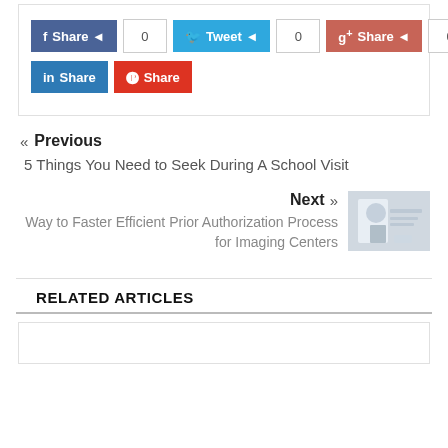[Figure (infographic): Social share buttons row: Facebook Share (0), Tweet (0), Google+ Share (0); second row: LinkedIn Share, Pinterest Share]
« Previous
5 Things You Need to Seek During A School Visit
Next »
Way to Faster Efficient Prior Authorization Process for Imaging Centers
RELATED ARTICLES